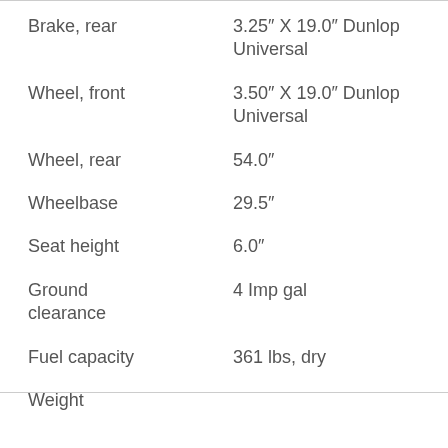| Specification | Value |
| --- | --- |
| Brake, rear | 3.25" X 19.0" Dunlop Universal |
| Wheel, front | 3.50" X 19.0" Dunlop Universal |
| Wheel, rear | 54.0" |
| Wheelbase | 29.5" |
| Seat height | 6.0" |
| Ground clearance | 4 Imp gal |
| Fuel capacity | 361 lbs, dry |
| Weight |  |